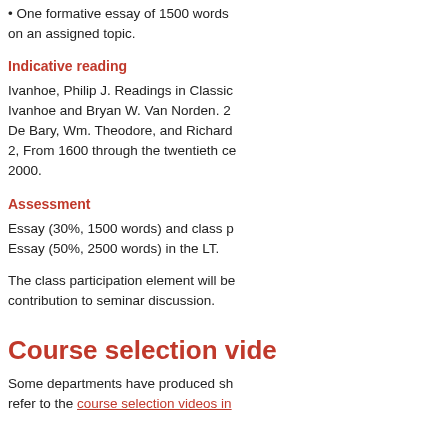• One formative essay of 1500 words on an assigned topic.
Indicative reading
Ivanhoe, Philip J. Readings in Classic Chinese Philosophy. Ivanhoe and Bryan W. Van Norden. 2... De Bary, Wm. Theodore, and Richard... 2, From 1600 through the twentieth ce... 2000.
Assessment
Essay (30%, 1500 words) and class p... Essay (50%, 2500 words) in the LT.
The class participation element will be... contribution to seminar discussion.
Course selection vide...
Some departments have produced sh... refer to the course selection videos in...